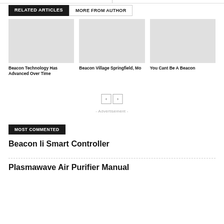RELATED ARTICLES
MORE FROM AUTHOR
Beacon Technology Has Advanced Over Time
Beacon Village Springfield, Mo
You Cant Be A Beacon
- Advertisement -
MOST COMMENTED
Beacon Ii Smart Controller
Plasmawave Air Purifier Manual